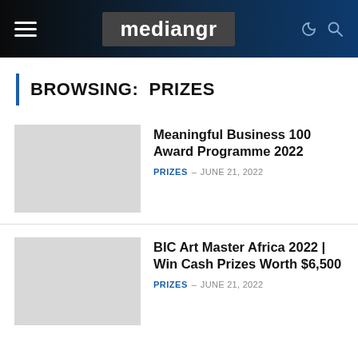mediangr
BROWSING: PRIZES
Meaningful Business 100 Award Programme 2022
PRIZES – JUNE 21, 2022
BIC Art Master Africa 2022 | Win Cash Prizes Worth $6,500
PRIZES – JUNE 21, 2022